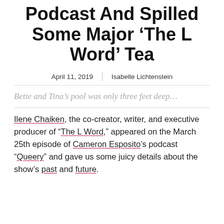Podcast And Spilled Some Major ‘The L Word’ Tea
April 11, 2019 | Isabelle Lichtenstein
Bette and Tina’s pool was only three feet deep…
Ilene Chaiken, the co-creator, writer, and executive producer of “The L Word,” appeared on the March 25th episode of Cameron Esposito’s podcast “Queery” and gave us some juicy details about the show’s past and future.